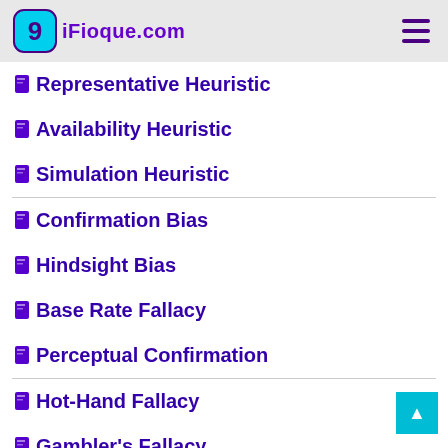9iFioque.com
Representative Heuristic
Availability Heuristic
Simulation Heuristic
Confirmation Bias
Hindsight Bias
Base Rate Fallacy
Perceptual Confirmation
Hot-Hand Fallacy
Gambler's Fallacy
Illusion of Control